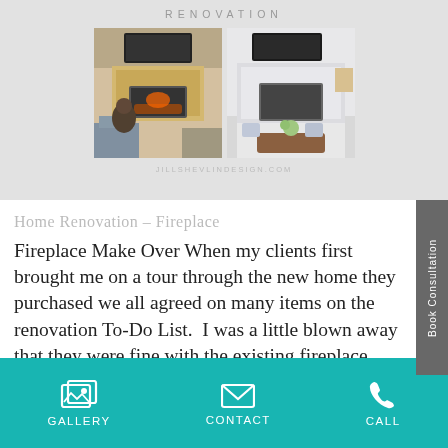[Figure (photo): Two side-by-side interior design photos showing a fireplace renovation before and after, displayed on a gray card background with 'RENOVATION' header text and 'JILLSHEVLINDESIGN.COM' watermark]
Home Renovation – Fireplace
Fireplace Make Over When my clients first brought me on a tour through the new home they purchased we all agreed on many items on the renovation To-Do List.  I was a little blown away that they were fine with the existing fireplace while I had a strong opinion to...
GALLERY   CONTACT   CALL